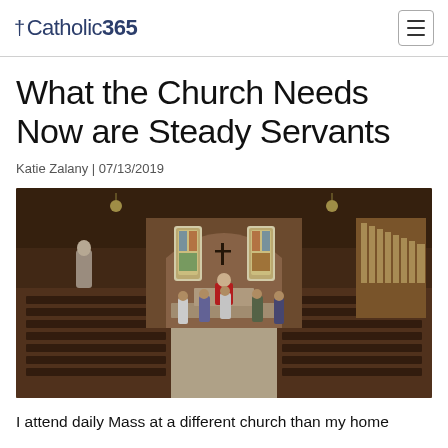†Catholic365
What the Church Needs Now are Steady Servants
Katie Zalany | 07/13/2019
[Figure (photo): Interior of a Catholic church seen from the back, showing pews mostly empty, several people standing near the altar where a priest in red vestments is celebrating Mass. Stained glass windows, brick walls, organ pipes on the right, a statue on the left.]
I attend daily Mass at a different church than my home